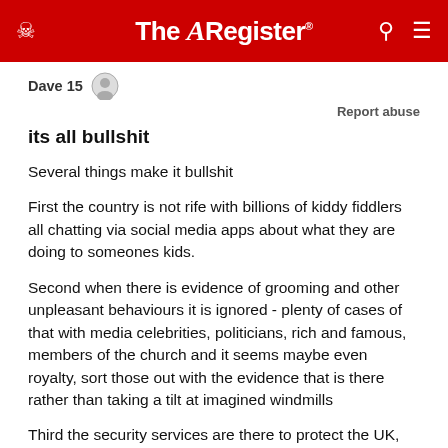The Register
Dave 15
Report abuse
its all bullshit
Several things make it bullshit
First the country is not rife with billions of kiddy fiddlers all chatting via social media apps about what they are doing to someones kids.
Second when there is evidence of grooming and other unpleasant behaviours it is ignored - plenty of cases of that with media celebrities, politicians, rich and famous, members of the church and it seems maybe even royalty, sort those out with the evidence that is there rather than taking a tilt at imagined windmills
Third the security services are there to protect the UK, they would be better off sorting out what is going on in